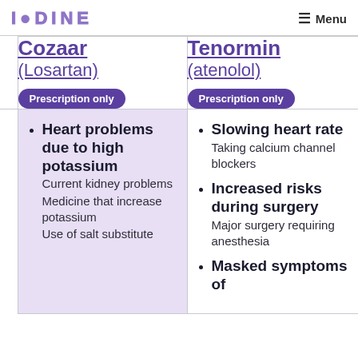IODINE  Menu
|  | Cozaar (Losartan) Prescription only | Tenormin (atenolol) Prescription only |
| --- | --- | --- |
|  | Heart problems due to high potassium
Current kidney problems
Medicine that increase potassium
Use of salt substitute | Slowing heart rate
Taking calcium channel blockers
Increased risks during surgery
Major surgery requiring anesthesia
Masked symptoms of |